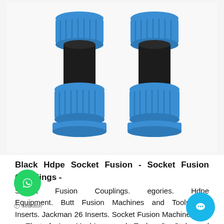[Figure (photo): Two blue HDPE socket fusion pipe couplings with black rubber/plastic center sections, shown side by side on a white background.]
Black Hdpe Socket Fusion - Socket Fusion Couplings -
Socket Fusion Couplings. egories. Hdpe Equipment. Butt Fusion Machines and Tools. De Inserts. Jackman 26 Inserts. Socket Fusion Machines and Electrofusion Machines and Tools. ConStab and GeoStab Tools.